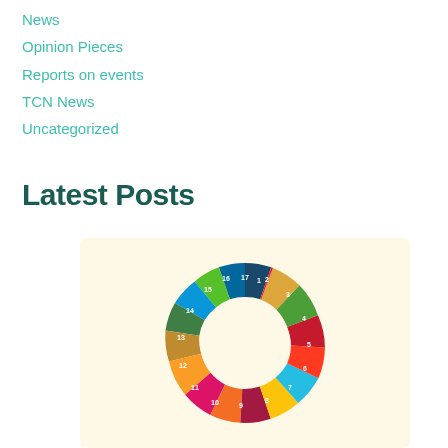News
Opinion Pieces
Reports on events
TCN News
Uncategorized
Latest Posts
[Figure (illustration): UN Sustainable Development Goals circular logo showing 17 colorful numbered goal tiles arranged in a circle with 'SUSTAINABLE DEVELOPMENT GOALS' text in the center, on a light yellow background.]